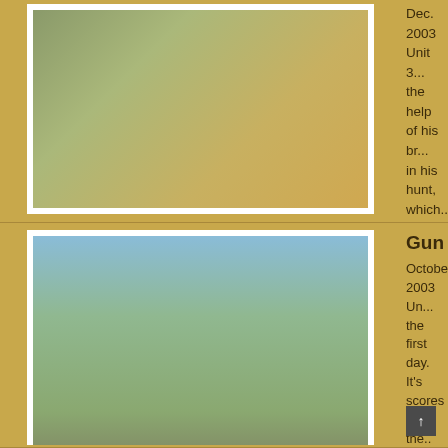[Figure (photo): Person crouching with a deer in a desert/scrub landscape]
Dec. 2003 Unit 3... the help of his br... in his hunt, which...
JUNE 18, 2012 with 0 c...
[Figure (photo): Two men standing in a desert landscape, one in white t-shirt one in hat, both holding small animals]
Gunner and D...
October 2003 Un... the first day.  It's ... scores in the..
JUNE 13, 2012 with 0 C...
[Figure (photo): Person in snowy conditions with a rifle and animal in rocky terrain]
Sandra Arred...
Dec. 12, 2003 Un... in the snow with ...
JUNE 13, 2012 with 0 C...